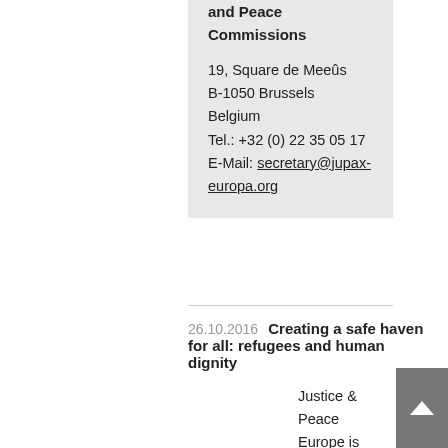and Peace Commissions

19, Square de Meeûs
B-1050 Brussels
Belgium
Tel.: +32 (0) 22 35 05 17
E-Mail: secretary@jupax-europa.org
26.10.2016  Creating a safe haven for all: refugees and human dignity
Justice & Peace Europe is calling upon the European institutions, EU